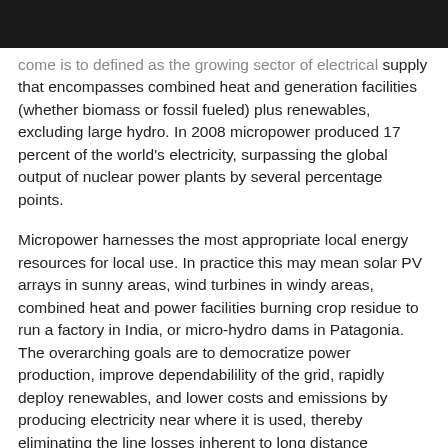come is to defined as the growing sector of electrical supply that encompasses combined heat and generation facilities (whether biomass or fossil fueled) plus renewables, excluding large hydro. In 2008 micropower produced 17 percent of the world's electricity, surpassing the global output of nuclear power plants by several percentage points.
Micropower harnesses the most appropriate local energy resources for local use. In practice this may mean solar PV arrays in sunny areas, wind turbines in windy areas, combined heat and power facilities burning crop residue to run a factory in India, or micro-hydro dams in Patagonia. The overarching goals are to democratize power production, improve dependabilility of the grid, rapidly deploy renewables, and lower costs and emissions by producing electricity near where it is used, thereby eliminating the line losses inherent to long distance transmission.